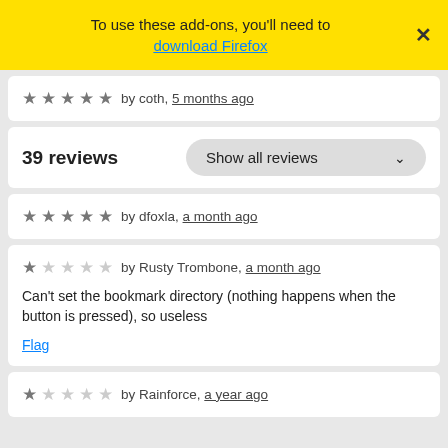To use these add-ons, you'll need to download Firefox
★★★★★ by coth, 5 months ago
39 reviews  Show all reviews
★★★★★ by dfoxla, a month ago
★☆☆☆☆ by Rusty Trombone, a month ago
Can't set the bookmark directory (nothing happens when the button is pressed), so useless
Flag
★☆☆☆☆ by Rainforce, a year ago